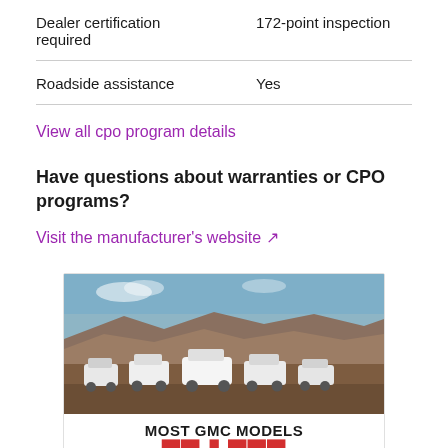| Dealer certification required | 172-point inspection |
| Roadside assistance | Yes |
View all cpo program details
Have questions about warranties or CPO programs?
Visit the manufacturer's website ↗
[Figure (photo): A lineup of white GMC SUVs/trucks parked in a desert canyon landscape with red rock formations and blue sky.]
MOST GMC MODELS